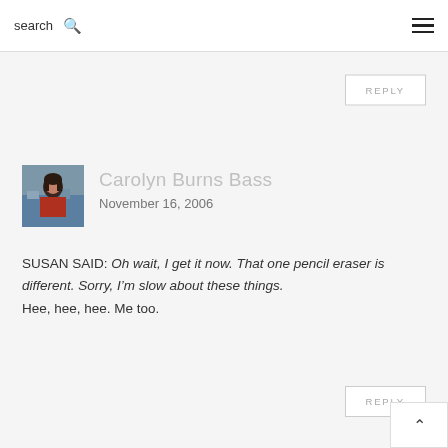search  ☰
REPLY
[Figure (photo): Profile photo of a woman with dark hair, wearing a red top, with water and boats in the background]
Carolyn Burns Bass
November 16, 2006
SUSAN SAID: Oh wait, I get it now. That one pencil eraser is different. Sorry, I'm slow about these things.
Hee, hee, hee. Me too.
REPLY